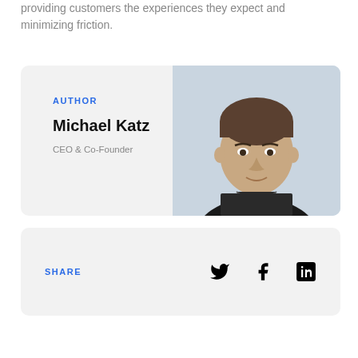providing customers the experiences they expect and minimizing friction.
AUTHOR
Michael Katz
CEO & Co-Founder
[Figure (photo): Headshot of Michael Katz, a man in a dark sweater against a light blue-grey background]
SHARE
[Figure (infographic): Social sharing icons: Twitter bird, Facebook f, LinkedIn in square]